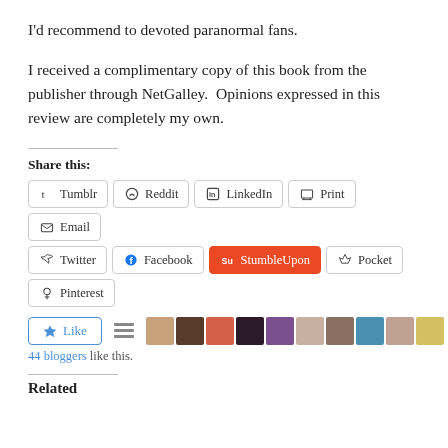I'd recommend to devoted paranormal fans.
I received a complimentary copy of this book from the publisher through NetGalley.  Opinions expressed in this review are completely my own.
Share this:
[Figure (screenshot): Social sharing buttons: Tumblr, Reddit, LinkedIn, Print, Email, Twitter, Facebook, StumbleUpon, Pocket, Pinterest]
[Figure (screenshot): Like button and 44 bloggers avatars row with text '44 bloggers like this.']
44 bloggers like this.
Related